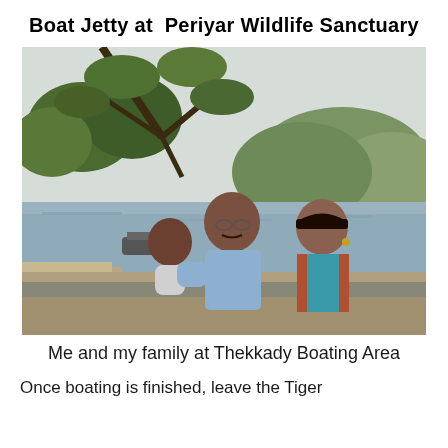Boat Jetty at  Periyar Wildlife Sanctuary
[Figure (photo): A family photo at Thekkady Boating Area, Periyar Wildlife Sanctuary. A man holding a baby and a woman standing beside him, with a lake, trees, and green hills in the background.]
Me and my family at Thekkady Boating Area
Once boating is finished, leave the Tiger